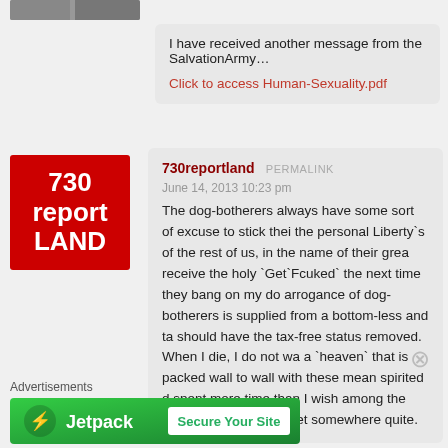I have received another message from the SalvationArmy…
Click to access Human-Sexuality.pdf
[Figure (logo): 730 report LAND red logo box]
730reportland  PERMALINK
June 14, 2013 10:23 pm
The dog-botherers always have some sort of excuse to stick thei the personal Liberty`s of the rest of us, in the name of their grea receive the holy `Get`Fcuked` the next time they bang on my do arrogance of dog-botherers is supplied from a bottom-less and ta should have the tax-free status removed. When I die, I do not wa a `heaven` that is packed wall to wall with these mean spirited d spent more time than I wish among the delusionals in life. For et somewhere quite.
Advertisements
[Figure (infographic): Jetpack - Secure Your Site advertisement banner]